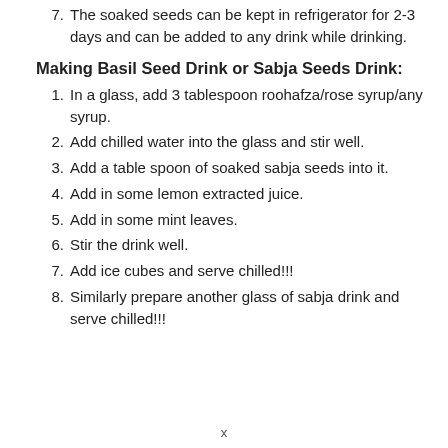7. The soaked seeds can be kept in refrigerator for 2-3 days and can be added to any drink while drinking.
Making Basil Seed Drink or Sabja Seeds Drink:
1. In a glass, add 3 tablespoon roohafza/rose syrup/any syrup.
2. Add chilled water into the glass and stir well.
3. Add a table spoon of soaked sabja seeds into it.
4. Add in some lemon extracted juice.
5. Add in some mint leaves.
6. Stir the drink well.
7. Add ice cubes and serve chilled!!!
8. Similarly prepare another glass of sabja drink and serve chilled!!!
x